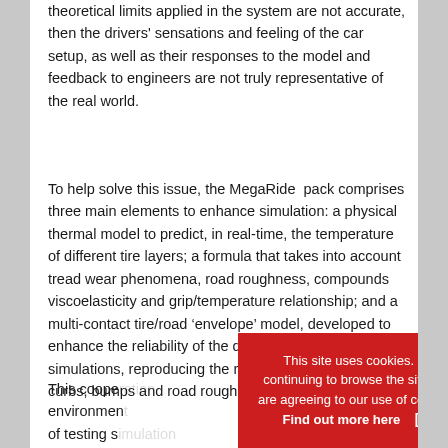theoretical limits applied in the system are not accurate, then the drivers' sensations and feeling of the car setup, as well as their responses to the model and feedback to engineers are not truly representative of the real world.
To help solve this issue, the MegaRide pack comprises three main elements to enhance simulation: a physical thermal model to predict, in real-time, the temperature of different tire layers; a formula that takes into account tread wear phenomena, road roughness, compounds viscoelasticity and grip/temperature relationship; and a multi-contact tire/road ‘envelope’ model, developed to enhance the reliability of the drivers’ feeling in driving simulations, reproducing the ride dynamics caused by curbs, bumps and road roughness.
This cooperation [partially obscured] on environment [partially obscured] ity of testing s[partially obscured]
This site uses cookies. By continuing to browse the site you are agreeing to our use of cookies. Find out more here   [X]